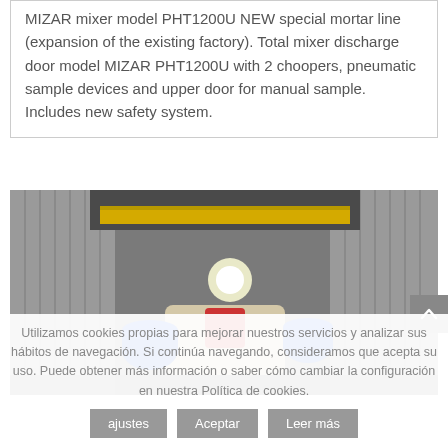MIZAR mixer model PHT1200U NEW special mortar line (expansion of the existing factory). Total mixer discharge door model MIZAR PHT1200U with 2 choopers, pneumatic sample devices and upper door for manual sample. Includes new safety system.
[Figure (photo): Industrial factory interior showing overhead yellow beam crane and industrial mixer equipment with blue and red components on the floor.]
Utilizamos cookies propias para mejorar nuestros servicios y analizar sus hábitos de navegación. Si continúa navegando, consideramos que acepta su uso. Puede obtener más información o saber cómo cambiar la configuración en nuestra Política de cookies.